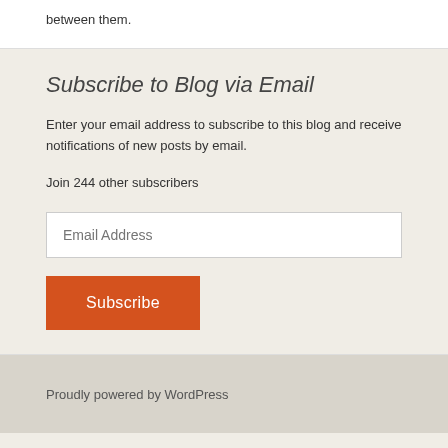between them.
Subscribe to Blog via Email
Enter your email address to subscribe to this blog and receive notifications of new posts by email.
Join 244 other subscribers
Proudly powered by WordPress